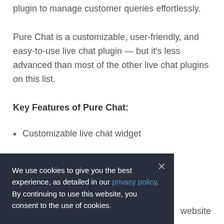plugin to manage customer queries effortlessly.
Pure Chat is a customizable, user-friendly, and easy-to-use live chat plugin — but it's less advanced than most of the other live chat plugins on this list.
Key Features of Pure Chat:
Customizable live chat widget
website
We use cookies to give you the best experience, as detailed in our privacy policy. By continuing to use this website, you consent to the use of cookies.